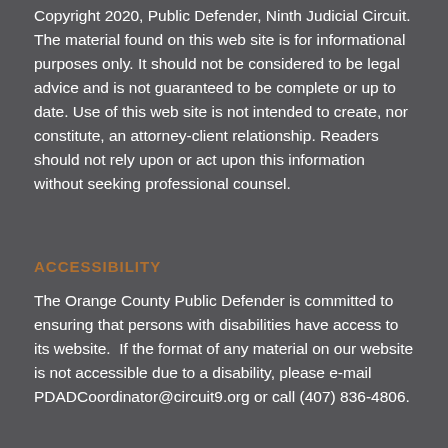Copyright 2020, Public Defender, Ninth Judicial Circuit. The material found on this web site is for informational purposes only. It should not be considered to be legal advice and is not guaranteed to be complete or up to date. Use of this web site is not intended to create, nor constitute, an attorney-client relationship. Readers should not rely upon or act upon this information without seeking professional counsel.
ACCESSIBILITY
The Orange County Public Defender is committed to ensuring that persons with disabilities have access to its website.  If the format of any material on our website is not accessible due to a disability, please e-mail PDADCoordinator@circuit9.org or call (407) 836-4806.